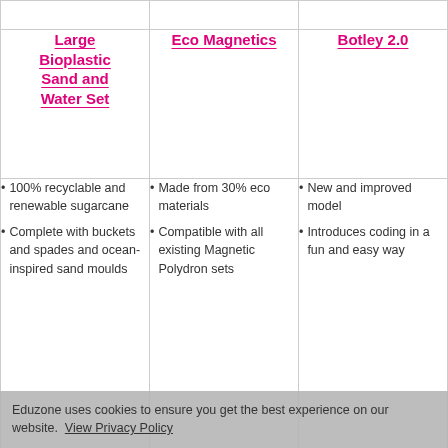| Large Bioplastic Sand and Water Set | Eco Magnetics | Botley 2.0 |
| --- | --- | --- |
| 100% recyclable and renewable sugarcane; Complete with buckets and spades and ocean-inspired sand moulds | Made from 30% eco materials; Compatible with all existing Magnetic Polydron sets | New and improved model; Introduces coding in a fun and easy way |
Eduzone uses cookies to ensure you get the best experience on our website. View Privacy Policy